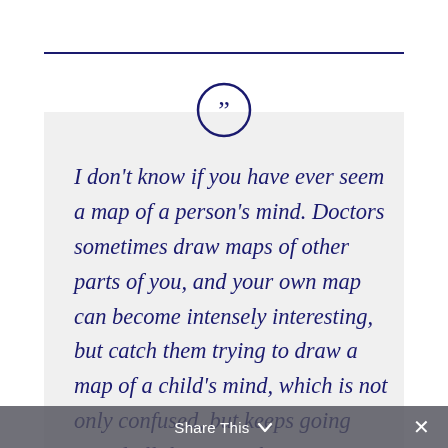I don't know if you have ever seem a map of a person's mind. Doctors sometimes draw maps of other parts of you, and your own map can become intensely interesting, but catch them trying to draw a map of a child's mind, which is not only confused, but keeps going round all the time. There are zigzag lines on it, just like your temperature on a card, and these are probably roads in the island; for the
Share This ∨  ✕